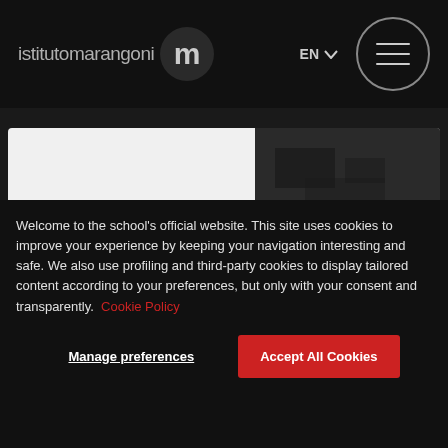[Figure (logo): Istituto Marangoni logo with wordmark and stylized M emblem on dark navigation bar]
[Figure (photo): Dark photograph thumbnail visible in top right of article card]
Istituto Marangoni Milano kicks off three new Mentorship Programmes with
Welcome to the school's official website. This site uses cookies to improve your experience by keeping your navigation interesting and safe. We also use profiling and third-party cookies to display tailored content according to your preferences, but only with your consent and transparently. Cookie Policy
Manage preferences
Accept All Cookies